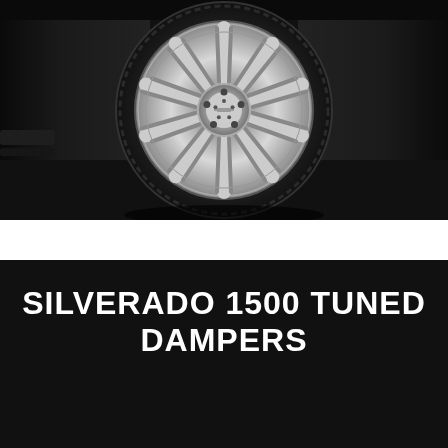[Figure (photo): Close-up photograph of a chrome alloy wheel on a dark Chevrolet Silverado truck, showing the multi-spoke wheel against a dark background with the vehicle body visible on the sides.]
SILVERADO 1500 TUNED DAMPERS